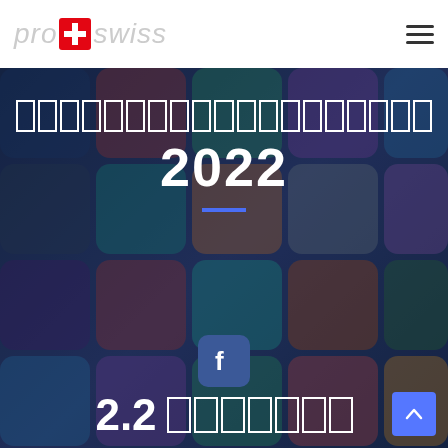pro swiss — navigation header with logo and hamburger menu
[Figure (photo): Colorful app icons grid background image (smartphone app tiles including music, mail, weather, settings, and other icons) with dark overlay]
███████████████████ 2022
[Figure (logo): Facebook icon — rounded square blue icon with white 'f' letter]
2.2 ███████